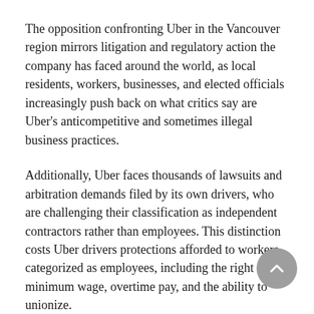The opposition confronting Uber in the Vancouver region mirrors litigation and regulatory action the company has faced around the world, as local residents, workers, businesses, and elected officials increasingly push back on what critics say are Uber's anticompetitive and sometimes illegal business practices.
Additionally, Uber faces thousands of lawsuits and arbitration demands filed by its own drivers, who are challenging their classification as independent contractors rather than employees. This distinction costs Uber drivers protections afforded to workers categorized as employees, including the right to a minimum wage, overtime pay, and the ability to unionize.